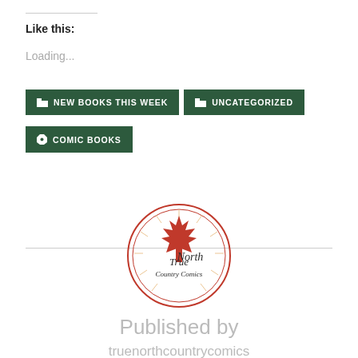Like this:
Loading...
NEW BOOKS THIS WEEK
UNCATEGORIZED
COMIC BOOKS
[Figure (logo): True North Country Comics circular logo with maple leaf and radiating lines, red circular border]
Published by
truenorthcountrycomics